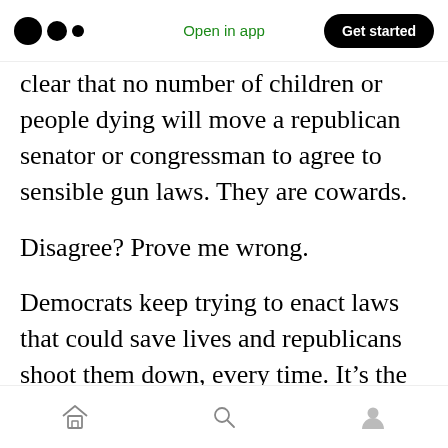Medium app header — logo, Open in app, Get started
clear that no number of children or people dying will move a republican senator or congressman to agree to sensible gun laws. They are cowards.
Disagree? Prove me wrong.
Democrats keep trying to enact laws that could save lives and republicans shoot them down, every time. It’s the same song and dance we’ve seen year after year. Thoughts and prayers mean shit. You can tell me all you want about law abiding citizens being infringed upon, then I say
Bottom navigation bar — home, search, profile icons